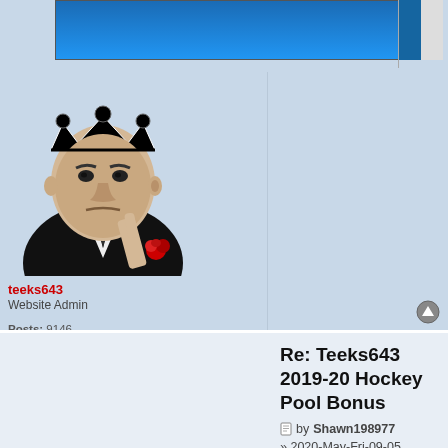[Figure (illustration): Blue banner/advertisement at top of forum page]
[Figure (photo): Forum user avatar: stylized black and white illustration of a man in a suit with a crown, Godfather-style, holding a red rose]
teeks643
Website Admin
Posts: 9146
Joined: 2011-Nov-Tue-11-11
Location: Manitoba, Canada
[Figure (illustration): Globe/internet icon]
[Figure (illustration): Up arrow scroll-to-top button]
Re: Teeks643 2019-20 Hockey Pool Bonus
by Shawn198977 » 2020-May-Fri-09-05